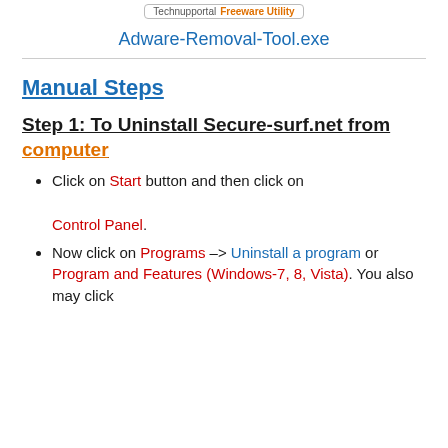[Figure (logo): Technupportal Freeware Utility badge/logo]
Adware-Removal-Tool.exe
Manual Steps
Step 1: To Uninstall Secure-surf.net from computer
Click on Start button and then click on Control Panel.
Now click on Programs –> Uninstall a program or Program and Features (Windows-7, 8, Vista). You also may click